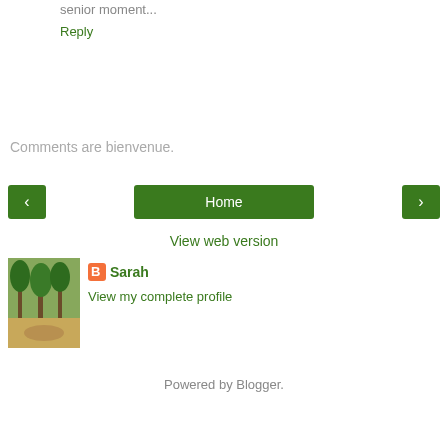senior moment...
Reply
Comments are bienvenue.
[Figure (screenshot): Navigation buttons: left arrow, Home, right arrow]
View web version
[Figure (photo): Profile photo of Sarah: trees in a park/forest setting]
Sarah
View my complete profile
Powered by Blogger.